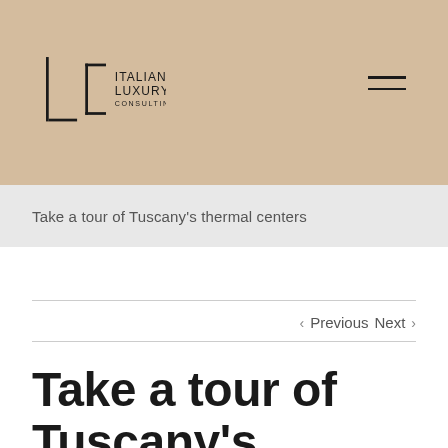[Figure (logo): Italian Luxury Consulting logo — stylized ILC monogram with vertical bar, bracket shape, and text reading ITALIAN LUXURY CONSULTING]
Take a tour of Tuscany's thermal centers
‹ Previous   Next ›
Take a tour of Tuscany's thermal centers